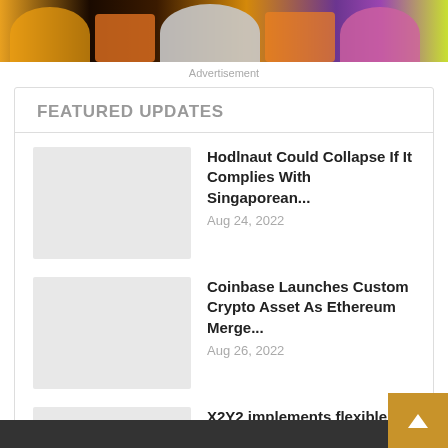[Figure (illustration): Colorful graffiti-style banner with cartoon characters and graffiti lettering on a grass background]
Advertisement
FEATURED UPDATES
Hodlnaut Could Collapse If It Complies With Singaporean... Aug 24, 2022
Coinbase Launches Custom Crypto Asset As Ethereum Merge... Aug 26, 2022
X2Y2 implements flexible royalty option for buyers Aug 27, 2022